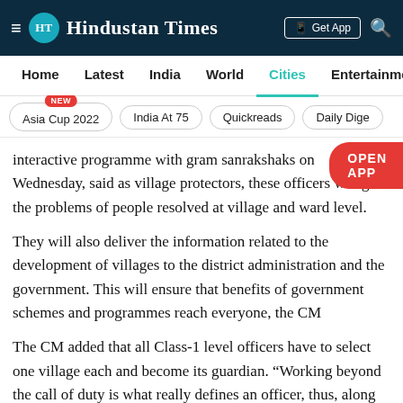HT Hindustan Times — Get App
Home  Latest  India  World  Cities  Entertainment
Asia Cup 2022 NEW
India At 75
Quickreads
Daily Dige
interactive programme with gram sanrakshaks on Wednesday, said as village protectors, these officers will get the problems of people resolved at village and ward level.
They will also deliver the information related to the development of villages to the district administration and the government. This will ensure that benefits of government schemes and programmes reach everyone, the CM
The CM added that all Class-1 level officers have to select one village each and become its guardian. “Working beyond the call of duty is what really defines an officer, thus, along with professional duties, each should also always be ready for making pivotal contributions for serving the society,” he said.